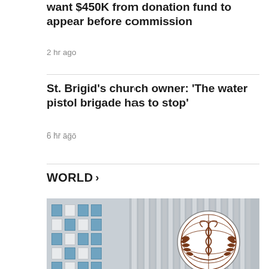want $450K from donation fund to appear before commission
2 hr ago
St. Brigid's church owner: 'The water pistol brigade has to stop'
6 hr ago
WORLD >
[Figure (photo): Photo of a building exterior with a WHO (World Health Organization) emblem/logo mounted on vertical metal bars, with a multi-story building visible on the left and green foliage at the bottom.]